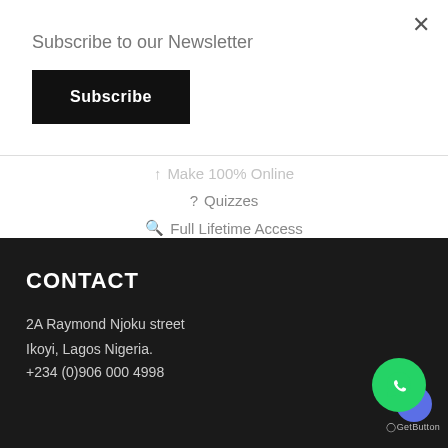Subscribe to our Newsletter
Subscribe
Make 100% Online
Quizzes
Full Lifetime Access
CONTACT
2A Raymond Njoku street
Ikoyi, Lagos Nigeria.
+234 (0)906 000 4998